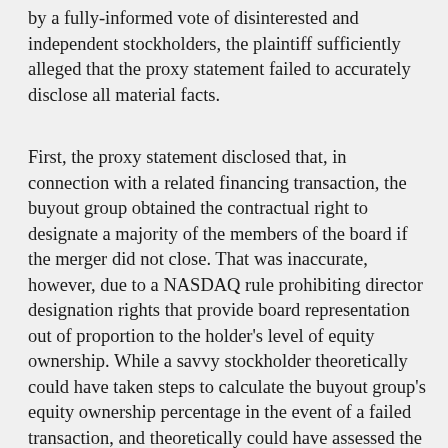by a fully-informed vote of disinterested and independent stockholders, the plaintiff sufficiently alleged that the proxy statement failed to accurately disclose all material facts.
First, the proxy statement disclosed that, in connection with a related financing transaction, the buyout group obtained the contractual right to designate a majority of the members of the board if the merger did not close. That was inaccurate, however, due to a NASDAQ rule prohibiting director designation rights that provide board representation out of proportion to the holder's level of equity ownership. While a savvy stockholder theoretically could have taken steps to calculate the buyout group's equity ownership percentage in the event of a failed transaction, and theoretically could have assessed the effect of